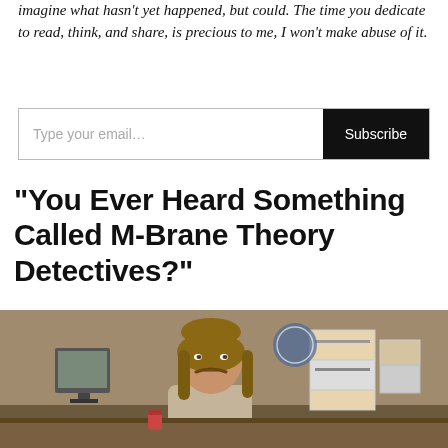imagine what hasn't yet happened, but could. The time you dedicate to read, think, and share, is precious to me, I won't make abuse of it.
[Figure (other): Email subscription input field with placeholder 'Type your email...' and a black 'Subscribe' button]
“You Ever Heard Something Called M-Brane Theory Detectives?”
[Figure (photo): A man with long hair and a mustache sitting at a table in a room with an old computer monitor and stacked boxes, leaning forward slightly. Scene resembling a detective interrogation setting.]